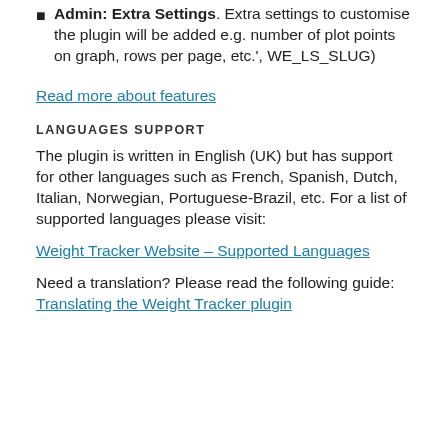Admin: Extra Settings. Extra settings to customise the plugin will be added e.g. number of plot points on graph, rows per page, etc.', WE_LS_SLUG)
Read more about features
LANGUAGES SUPPORT
The plugin is written in English (UK) but has support for other languages such as French, Spanish, Dutch, Italian, Norwegian, Portuguese-Brazil, etc. For a list of supported languages please visit:
Weight Tracker Website – Supported Languages
Need a translation? Please read the following guide: Translating the Weight Tracker plugin